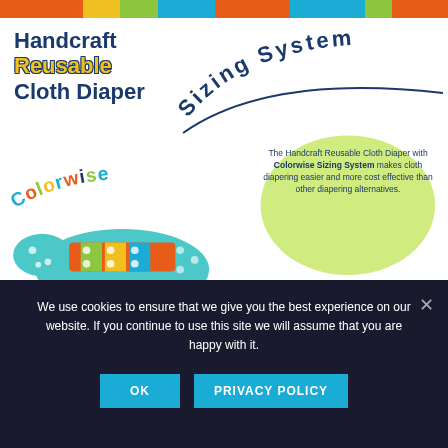[Figure (illustration): Handcraft Reusable Cloth Diaper product banner with Colorwise Sizing System. Features a teal cloth diaper with colorful snap closures, colorful block bars at top and bottom, and a green blob with product description text. Title reads 'Handcraft Reusable Cloth Diaper' and 'Colorwise Sizing System'. Description text: 'The Handcraft Reusable Cloth Diaper with Colorwise Sizing System makes cloth diapering easier and more cost effective than other diapering alternatives.']
We use cookies to ensure that we give you the best experience on our website. If you continue to use this site we will assume that you are happy with it.